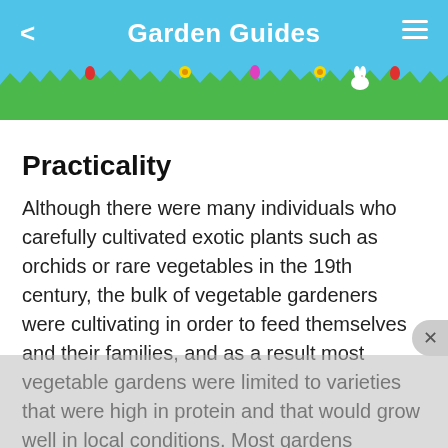Garden Guides
Practicality
Although there were many individuals who carefully cultivated exotic plants such as orchids or rare vegetables in the 19th century, the bulk of vegetable gardeners were cultivating in order to feed themselves and their families, and as a result most vegetable gardens were limited to varieties that were high in protein and that would grow well in local conditions. Most gardens featured potatoes, corn, beans,